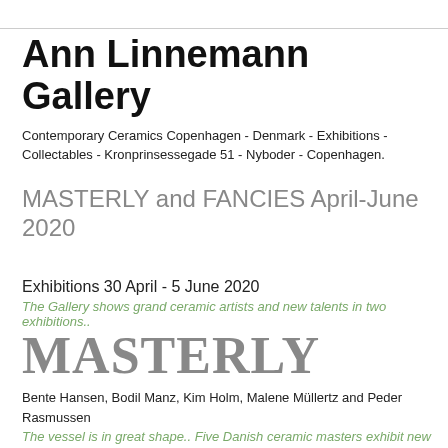Ann Linnemann Gallery
Contemporary Ceramics Copenhagen - Denmark - Exhibitions - Collectables - Kronprinsessegade 51 - Nyboder - Copenhagen.
MASTERLY and FANCIES April-June 2020
Exhibitions 30 April - 5 June 2020
The Gallery shows grand ceramic artists and new talents in two exhibitions..
MASTERLY
Bente Hansen, Bodil Manz, Kim Holm, Malene Müllertz and Peder Rasmussen
The vessel is in great shape.. Five Danish ceramic masters exhibit new